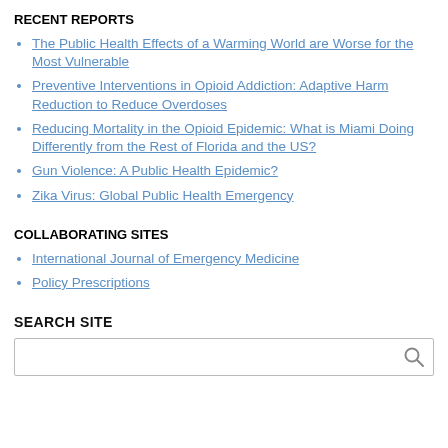RECENT REPORTS
The Public Health Effects of a Warming World are Worse for the Most Vulnerable
Preventive Interventions in Opioid Addiction: Adaptive Harm Reduction to Reduce Overdoses
Reducing Mortality in the Opioid Epidemic: What is Miami Doing Differently from the Rest of Florida and the US?
Gun Violence: A Public Health Epidemic?
Zika Virus: Global Public Health Emergency
COLLABORATING SITES
International Journal of Emergency Medicine
Policy Prescriptions
SEARCH SITE